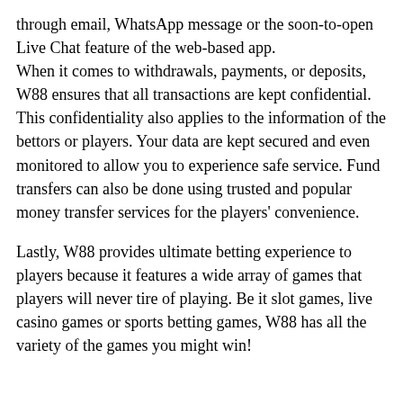through email, WhatsApp message or the soon-to-open Live Chat feature of the web-based app. When it comes to withdrawals, payments, or deposits, W88 ensures that all transactions are kept confidential. This confidentiality also applies to the information of the bettors or players. Your data are kept secured and even monitored to allow you to experience safe service. Fund transfers can also be done using trusted and popular money transfer services for the players' convenience.
Lastly, W88 provides ultimate betting experience to players because it features a wide array of games that players will never tire of playing. Be it slot games, live casino games or sports betting games, W88 has all the variety of the games you might win!